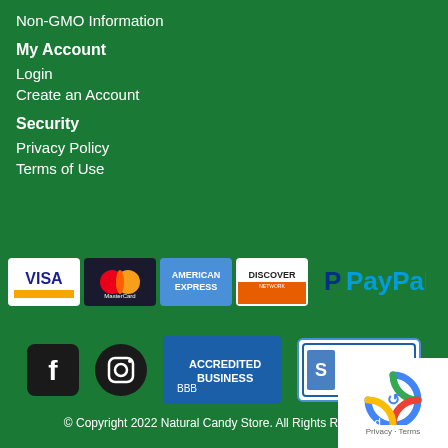Non-GMO Information
My Account
Login
Create an Account
Security
Privacy Policy
Terms of Use
[Figure (logo): Payment method logos: Visa, MasterCard, American Express, Discover, PayPal]
[Figure (logo): Social and trust badges: Facebook icon, Instagram icon, BBB Accredited Business badge, Sectigo Secured badge]
© Copyright 2022 Natural Candy Store. All Rights Reserved.